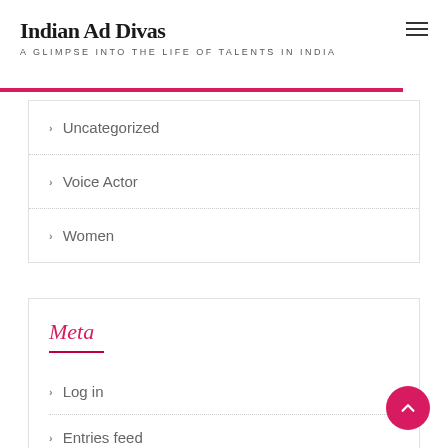Indian Ad Divas — A GLIMPSE INTO THE LIFE OF TALENTS IN INDIA
Uncategorized
Voice Actor
Women
Meta
Log in
Entries feed